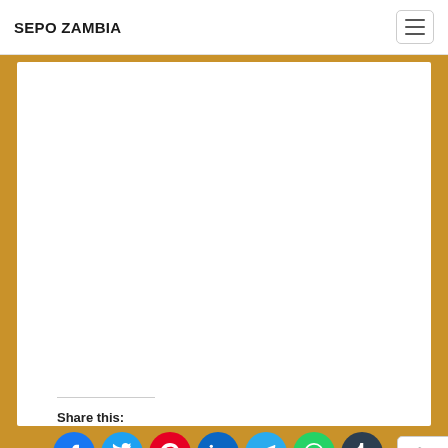SEPO ZAMBIA
Share this:
[Figure (infographic): Social share buttons: Facebook, Twitter, Pinterest, LinkedIn, Telegram, WhatsApp, Tumblr, and a More button]